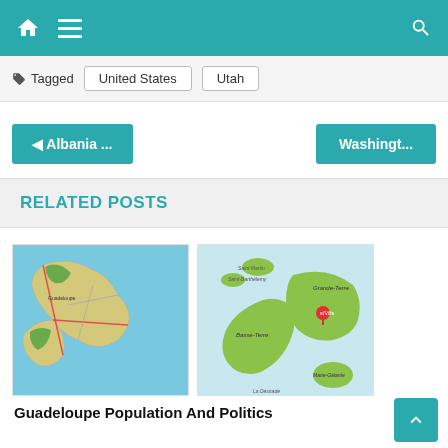Home | Menu | Search
Tagged  United States  Utah
◄ Albania ...    Washingt...
RELATED POSTS
[Figure (map): Detailed road map of Guadeloupe island showing roads and terrain in yellow/green on blue sea background]
[Figure (map): Schematic map of Guadeloupe showing islands Grande-Terre, Basse-Terre, and Marie-Galante in green on light blue background with red location pin]
Guadeloupe Population And Politics